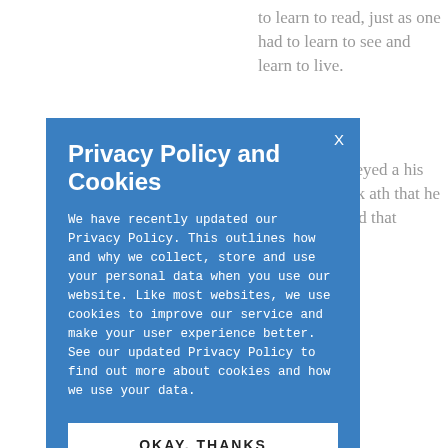to learn to read, just as one had to learn to see and learn to live.
onveyed a his work ath that he owed that
Privacy Policy and Cookies
We have recently updated our Privacy Policy. This outlines how and why we collect, store and use your personal data when you use our website. Like most websites, we use cookies to improve our service and make your user experience better. See our updated Privacy Policy to find out more about cookies and how we use your data.
OKAY, THANKS
CONNECT